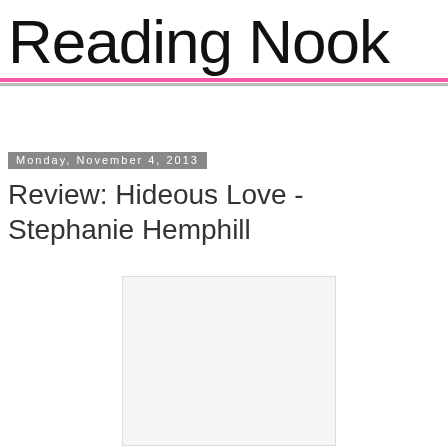Reading Nook
Monday, November 4, 2013
Review: Hideous Love - Stephanie Hemphill
[Figure (photo): Book cover placeholder image, light gray rectangle with border]